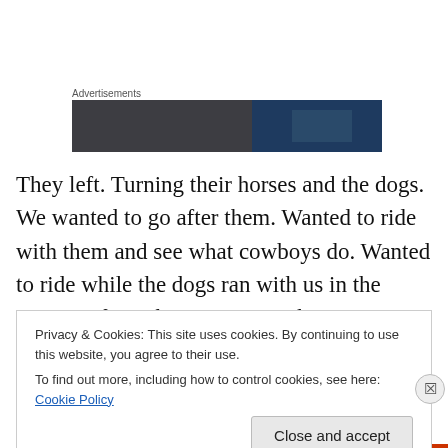Advertisements
[Figure (photo): Advertisement banner image showing a dark moody scene with blue tones]
They left. Turning their horses and the dogs. We wanted to go after them. Wanted to ride with them and see what cowboys do. Wanted to ride while the dogs ran with us in the morning fog. There was something age old....rustic....nostalgic in their words and clothes. Something was there that we have read in books like A
Privacy & Cookies: This site uses cookies. By continuing to use this website, you agree to their use.
To find out more, including how to control cookies, see here: Cookie Policy
Close and accept